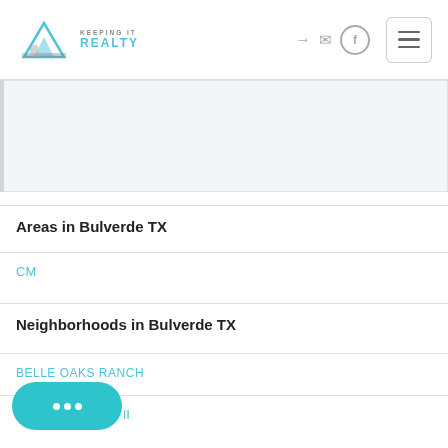[Figure (logo): Keeping It Realty logo with mountain graphic and teal/gray text]
[Figure (screenshot): Light gray banner/hero area placeholder]
Areas in Bulverde TX
CM
Neighborhoods in Bulverde TX
BELLE OAKS RANCH
Ranch Ph II